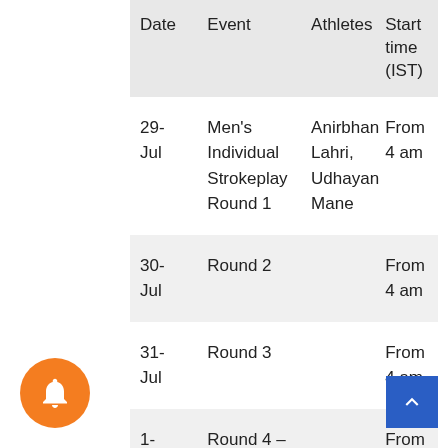| Date | Event | Athletes | Start time (IST) |
| --- | --- | --- | --- |
| 29-Jul | Men's Individual Strokeplay Round 1 | Anirbhan Lahri, Udhayan Mane | From 4 am |
| 30-Jul | Round 2 |  | From 4 am |
| 31-Jul | Round 3 |  | From 4 am |
| 1-Aug | Round 4 – Medal |  | From 4 am |